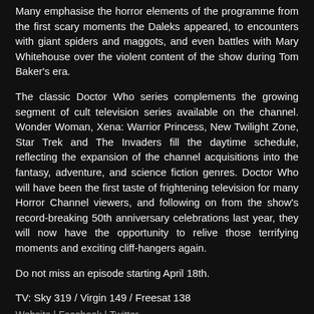Many emphasise the horror elements of the programme from the first scary moments the Daleks appeared, to encounters with giant spiders and maggots, and even battles with Mary Whitehouse over the violent content of the show during Tom Baker's era.
The classic Doctor Who series complements the growing segment of cult television series available on the channel. Wonder Woman, Xena: Warrior Princess, New Twilight Zone, Star Trek and The Invaders fill the daytime schedule, reflecting the expansion of the channel acquisitions into the fantasy, adventure, and science fiction genres. Doctor Who will have been the first taste of frightening television for many Horror Channel viewers, and following on from the show's record-breaking 50th anniversary celebrations last year, they will now have the opportunity to relive those terrifying moments and exciting cliff-hangers again.
Do not miss an episode starting April 18th.
TV: Sky 319 / Virgin 149 / Freesat 138
Website | Facebook | Twitter